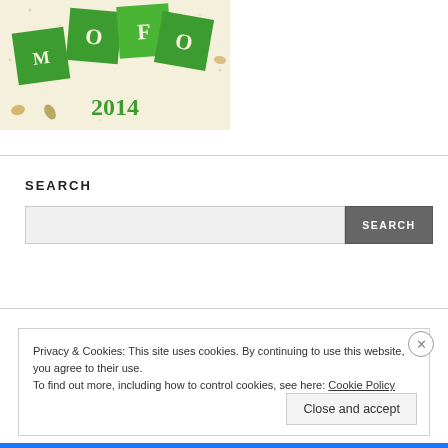[Figure (logo): MOFO 2014 festival logo — green overlapping square tiles with letters M, O, F, O on them and '2014' text below, on a beige speckled background]
SEARCH
Search input field with SEARCH button
Privacy & Cookies: This site uses cookies. By continuing to use this website, you agree to their use.
To find out more, including how to control cookies, see here: Cookie Policy
Close and accept